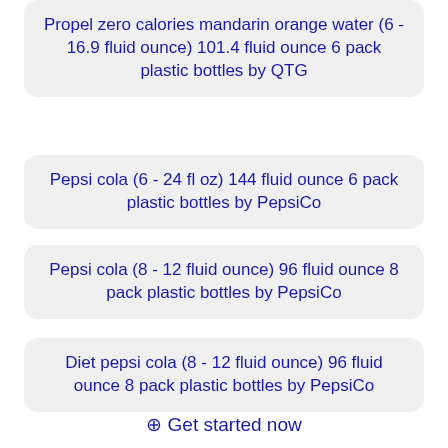Propel zero calories mandarin orange water (6 - 16.9 fluid ounce) 101.4 fluid ounce 6 pack plastic bottles by QTG
Pepsi cola (6 - 24 fl oz) 144 fluid ounce 6 pack plastic bottles by PepsiCo
Pepsi cola (8 - 12 fluid ounce) 96 fluid ounce 8 pack plastic bottles by PepsiCo
Diet pepsi cola (8 - 12 fluid ounce) 96 fluid ounce 8 pack plastic bottles by PepsiCo
Mtn dew soda (6 - 24 fluid ounce) 144 fluid ounce 6
⊕ Get started now